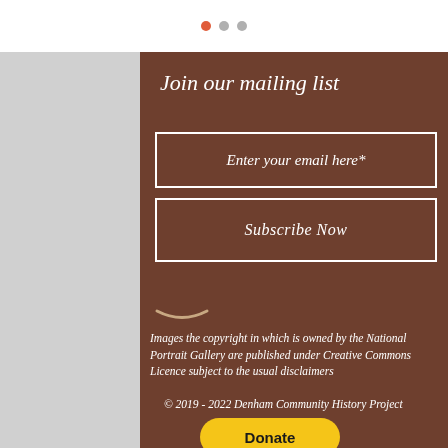• • •
Join our mailing list
Enter your email here*
Subscribe Now
Images the copyright in which is owned by the National Portrait Gallery are published under Creative Commons Licence subject to the usual disclaimers
© 2019 - 2022 Denham Community History Project
Donate